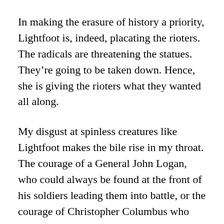In making the erasure of history a priority, Lightfoot is, indeed, placating the rioters. The radicals are threatening the statues. They’re going to be taken down. Hence, she is giving the rioters what they wanted all along.
My disgust at spinless creatures like Lightfoot makes the bile rise in my throat. The courage of a General John Logan, who could always be found at the front of his soldiers leading them into battle, or the courage of Christopher Columbus who made a journey into an unknown that would have any radical rioter or BLM protester urinating in his pants, deserves to be remembered and respected.
The Communists discovered that when trying to erase